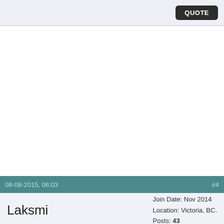QUOTE
08-08-2015, 06:03  #4
Laksmi  Join Date: Nov 2014  Location: Victoria, BC.  Posts: 43
Re: 2 x Cat 3160 210HP,
Quote: